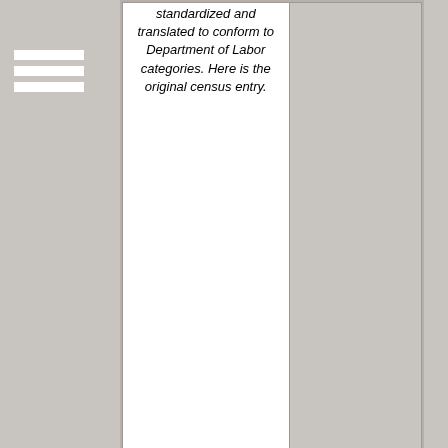|  |  |
| --- | --- |
| standardized and translated to conform to Department of Labor categories. Here is the original census entry. |  |
Nativity, Citizenship, & Immigration
| Born in: | United States (Illinois) |
| --- | --- |
| Nativity entries in this data set were standardized and translated to conform to [...] | [Illinois] |